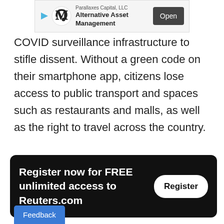[Figure (other): Advertisement banner for Parallaxes Capital, LLC - Alternative Asset Management with Open button]
COVID surveillance infrastructure to stifle dissent. Without a green code on their smartphone app, citizens lose access to public transport and spaces such as restaurants and malls, as well as the right to travel across the country.
[Figure (other): Register now for FREE unlimited access to Reuters.com with Register button]
"They are putting digital handcuffs on us," said a depositor from Sichuan province surnamed Chen, who declined to use his full name for fear of government re
[Figure (other): Feedback button (blue, bottom left)]